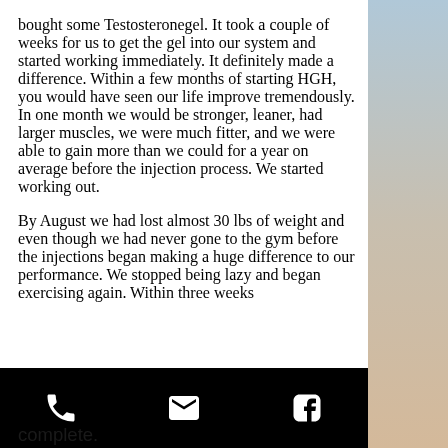bought some Testosteronegel. It took a couple of weeks for us to get the gel into our system and started working immediately. It definitely made a difference. Within a few months of starting HGH, you would have seen our life improve tremendously. In one month we would be stronger, leaner, had larger muscles, we were much fitter, and we were able to gain more than we could for a year on average before the injection process. We started working out.
By August we had lost almost 30 lbs of weight and even though we had never gone to the gym before the injections began making a huge difference to our performance. We stopped being lazy and began exercising again. Within three weeks
complete.